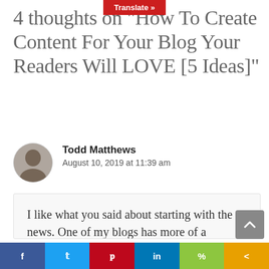4 thoughts on "How To Create Content For Your Blog Your Readers Will LOVE [5 Ideas]"
Todd Matthews
August 10, 2019 at 11:39 am
I like what you said about starting with the news. One of my blogs has more of a political ring to it, so I'm